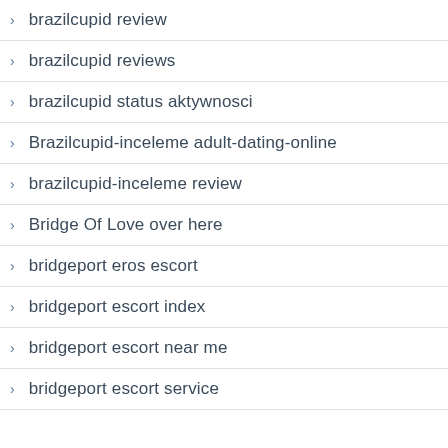brazilcupid review
brazilcupid reviews
brazilcupid status aktywnosci
Brazilcupid-inceleme adult-dating-online
brazilcupid-inceleme review
Bridge Of Love over here
bridgeport eros escort
bridgeport escort index
bridgeport escort near me
bridgeport escort service